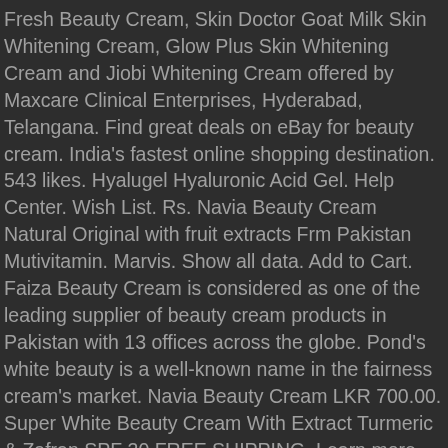Fresh Beauty Cream, Skin Doctor Goat Milk Skin Whitening Cream, Glow Plus Skin Whitening Cream and Jiobi Whitening Cream offered by Maxcare Clinical Enterprises, Hyderabad, Telangana. Find great deals on eBay for beauty cream. India's fastest online shopping destination. 543 likes. Hyalugel Hyaluronic Acid Gel. Help Center. Wish List. Rs. Navia Beauty Cream Natural Original with fruit extracts Frm Pakistan Mutivitamin. Marvis. Show all data. Add to Cart. Faiza Beauty Cream is considered as one of the leading supplier of beauty cream products in Pakistan with 13 offices across the globe. Pond's white beauty is a well-known name in the fairness cream's market. Navia Beauty Cream LKR 700.00. Super White Beauty Cream With Extract Turmeric & Zafran SPF 30 FREE SHIPPING. Learn more FIND OUT MORE. Reborn Beauty Whitening Cleansing Cream, Milk & Rose, 500ml. Free P&P . This cream whitens your skin tone and also neutralizes various darkening agents on the skin. : are antioxidants, nutrients, or decrease the risk of some types of cancer); some are a significant